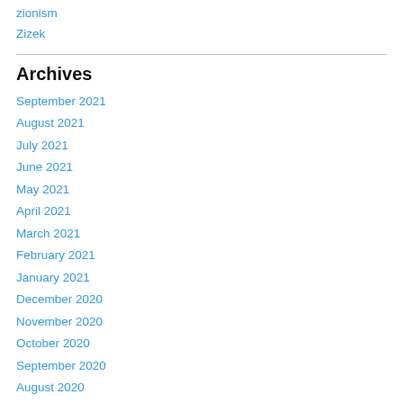zionism
Zizek
Archives
September 2021
August 2021
July 2021
June 2021
May 2021
April 2021
March 2021
February 2021
January 2021
December 2020
November 2020
October 2020
September 2020
August 2020